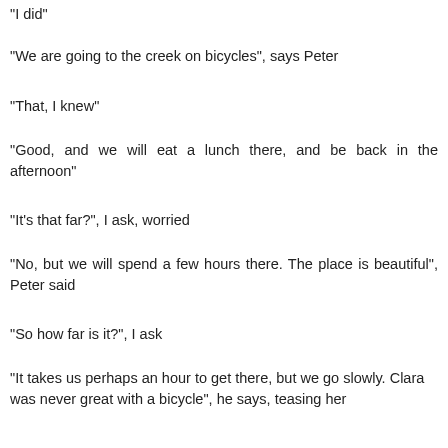"I did"
"We are going to the creek on bicycles", says Peter
"That, I knew"
"Good, and we will eat a lunch there, and be back in the afternoon"
"It's that far?", I ask, worried
"No, but we will spend a few hours there. The place is beautiful", Peter said
"So how far is it?", I ask
"It takes us perhaps an hour to get there, but we go slowly. Clara was never great with a bicycle", he says, teasing her